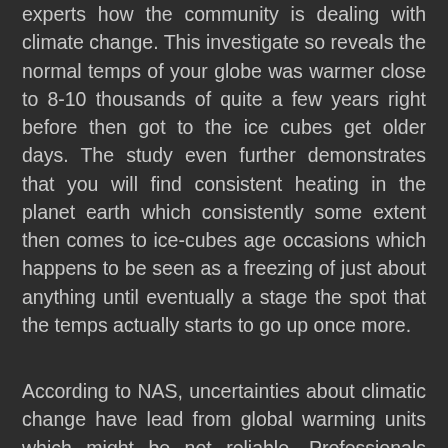experts how the community is dealing with climate change. This investigate so reveals the normal temps of your globe was warmer close to 8-10 thousands of quite a few years right before then got to the ice cubes get older days. The study even further demonstrates that you will find consistent heating in the planet earth which consistently some extent then comes to ice-cubes age occasions which happens to be seen as a freezing of just about anything until eventually a stage the spot that the temps actually starts to go up once more.
According to NAS, uncertainties about climatic change have lead from global warming units which might be not reliable. Professionals predominantly rely on these